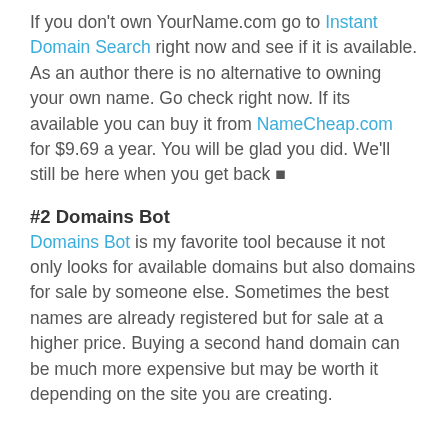If you don't own YourName.com go to Instant Domain Search right now and see if it is available. As an author there is no alternative to owning your own name. Go check right now. If its available you can buy it from NameCheap.com for $9.69 a year. You will be glad you did. We'll still be here when you get back 🙂
#2 Domains Bot
Domains Bot is my favorite tool because it not only looks for available domains but also domains for sale by someone else. Sometimes the best names are already registered but for sale at a higher price. Buying a second hand domain can be much more expensive but may be worth it depending on the site you are creating.
Domains bot also lets you find available...